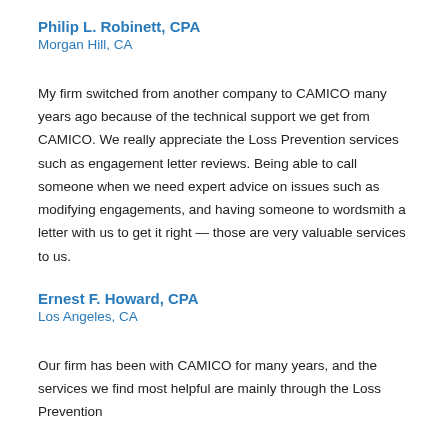Philip L. Robinett, CPA
Morgan Hill, CA
My firm switched from another company to CAMICO many years ago because of the technical support we get from CAMICO. We really appreciate the Loss Prevention services such as engagement letter reviews. Being able to call someone when we need expert advice on issues such as modifying engagements, and having someone to wordsmith a letter with us to get it right — those are very valuable services to us.
Ernest F. Howard, CPA
Los Angeles, CA
Our firm has been with CAMICO for many years, and the services we find most helpful are mainly through the Loss Prevention